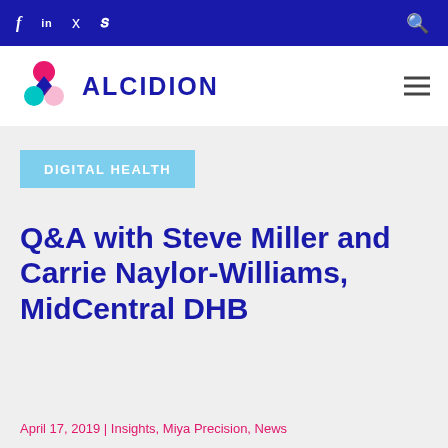f  in  Twitter  Vimeo  [search]
[Figure (logo): Alcidion logo with pink/teal/navy ribbon icon and ALCIDION wordmark in navy blue]
DIGITAL HEALTH
Q&A with Steve Miller and Carrie Naylor-Williams, MidCentral DHB
April 17, 2019 | Insights, Miya Precision, News